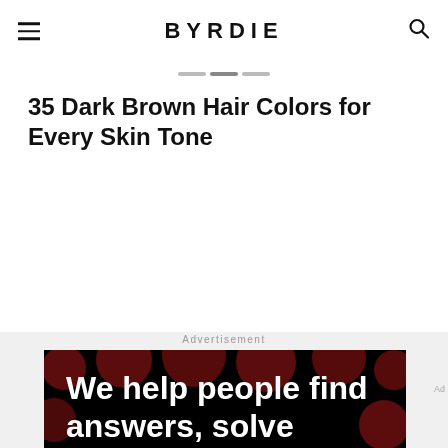BYRDIE
35 Dark Brown Hair Colors for Every Skin Tone
Advertisement
[Figure (photo): Dotdash Meredith advertisement banner with text 'We help people find answers, solve problems and get inspired.' on black background with dark red circles pattern. Bottom bar shows smaller version of text with Dotdash Meredith logo.]